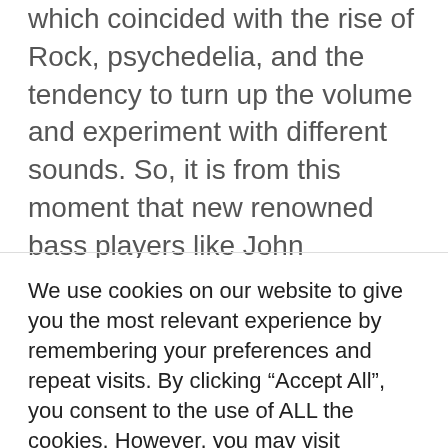which coincided with the rise of Rock, psychedelia, and the tendency to turn up the volume and experiment with different sounds. So, it is from this moment that new renowned bass players like John Entwistle (The Who), new accessories like the first round wound strings (until then they were Flatwound), and new basses with more complex electronics that were not mass-produced began to appear. Concerts started
We use cookies on our website to give you the most relevant experience by remembering your preferences and repeat visits. By clicking “Accept All”, you consent to the use of ALL the cookies. However, you may visit "Cookie Settings" to provide a controlled consent.
Cookie Settings | Accept All